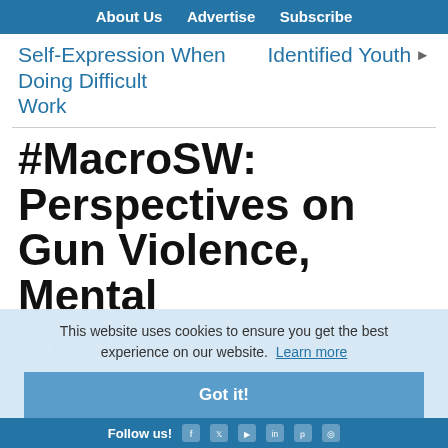About Us   Advertise   Subscribe
Self-Expression When Doing Difficult Work
Identified Youth ▶
#MacroSW: Perspectives on Gun Violence, Mental Health, and the Social Worker's Role
by Kristin Battista-Frazee, Pat Shelly
This website uses cookies to ensure you get the best experience on our website.  Learn more
Got it!
Follow us!